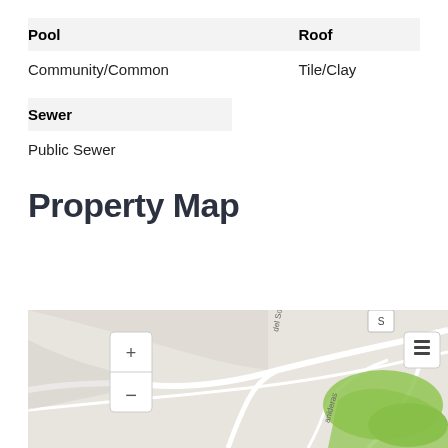| Pool | Roof |
| --- | --- |
| Community/Common | Tile/Clay |
| Sewer |
| --- |
| Public Sewer |
Property Map
[Figure (map): Street map showing property location with green park areas, road network including streets labeled 'del Sol' and 'anideras', zoom controls (+/-), and a layer switcher button in the upper right corner.]